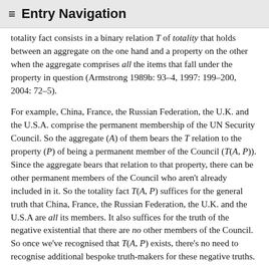≡ Entry Navigation
totality fact consists in a binary relation T of totality that holds between an aggregate on the one hand and a property on the other when the aggregate comprises all the items that fall under the property in question (Armstrong 1989b: 93–4, 1997: 199–200, 2004: 72–5).
For example, China, France, the Russian Federation, the U.K. and the U.S.A. comprise the permanent membership of the UN Security Council. So the aggregate (A) of them bears the T relation to the property (P) of being a permanent member of the Council (T(A, P)). Since the aggregate bears that relation to that property, there can be other permanent members of the Council who aren't already included in it. So the totality fact T(A, P) suffices for the general truth that China, France, the Russian Federation, the U.K. and the U.S.A are all its members. It also suffices for the truth of the negative existential that there are no other members of the Council. So once we've recognised that T(A, P) exists, there's no need to recognise additional bespoke truth-makers for these negative truths.